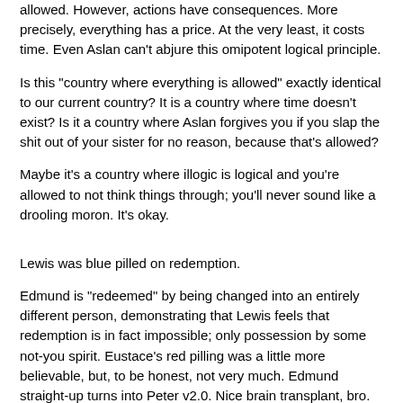allowed. However, actions have consequences. More precisely, everything has a price. At the very least, it costs time. Even Aslan can't abjure this omipotent logical principle.
Is this "country where everything is allowed" exactly identical to our current country? It is a country where time doesn't exist? Is it a country where Aslan forgives you if you slap the shit out of your sister for no reason, because that's allowed?
Maybe it's a country where illogic is logical and you're allowed to not think things through; you'll never sound like a drooling moron. It's okay.
Lewis was blue pilled on redemption.
Edmund is "redeemed" by being changed into an entirely different person, demonstrating that Lewis feels that redemption is in fact impossible; only possession by some not-you spirit. Eustace's red pilling was a little more believable, but, to be honest, not very much. Edmund straight-up turns into Peter v2.0. Nice brain transplant, bro.